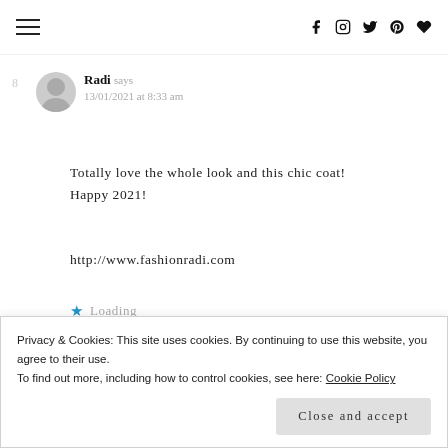Navigation menu and social icons (Facebook, Instagram, Twitter, Pinterest, Heart)
8. Radi says
13/01/2021 at 8:33 am
Totally love the whole look and this chic coat! Happy 2021!
http://www.fashionradi.com
Loading
Privacy & Cookies: This site uses cookies. By continuing to use this website, you agree to their use.
To find out more, including how to control cookies, see here: Cookie Policy
Close and accept